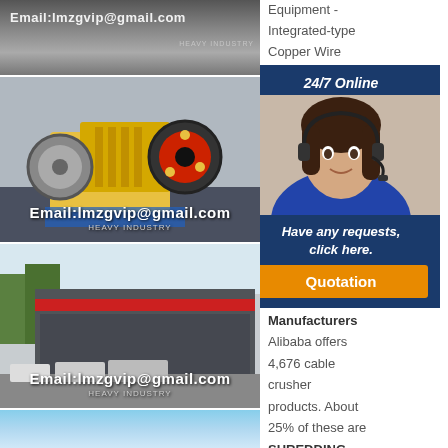[Figure (photo): Top partial industrial equipment photo with email overlay: Email:lmzgvip@gmail.com]
[Figure (photo): Yellow jaw crusher machine on factory floor with email overlay: Email:lmzgvip@gmail.com]
[Figure (photo): Industrial factory building exterior with red trim, mobile crushers in foreground, email overlay: Email:lmzgvip@gmail.com]
[Figure (photo): Partial view of another photo at bottom]
Equipment - Integrated-type Copper Wire cable crusher electric motor manufacturers. The Shredder allows using the Cable Waste. Cable Suppliers Manufacturers. Alibaba offers 4,676 cable crusher products. About 25% of these are SHREDDING
[Figure (infographic): 24/7 Online popup with customer service agent photo, Have any requests, click here. and Quotation button]